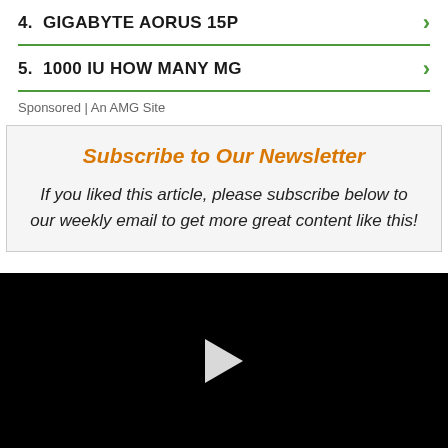4.  GIGABYTE AORUS 15P
5.  1000 IU HOW MANY MG
Sponsored | An AMG Site
Subscribe to Our Newsletter
If you liked this article, please subscribe below to our weekly email to get more great content like this!
[Figure (other): Black video player area with a white play button triangle in the center]